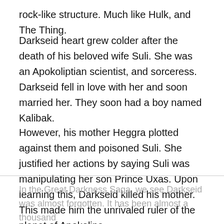rock-like structure. Much like Hulk, and The Thing.
Darkseid heart grew colder after the death of his beloved wife Suli. She was an Apokoliptian scientist, and sorceress. Darkseid fell in love with her and soon married her. They soon had a boy named Kalibak.
However, his mother Heggra plotted against them and poisoned Suli. She justified her actions by saying Suli was manipulating her son Prince Uxas. Upon learning this, Darkseid killed his mother. This made him the unrivaled ruler of the planet of Apokolips.
In the Great Darkness Saga, we see Darkseid was almost forgotten. It has been almost a thousand